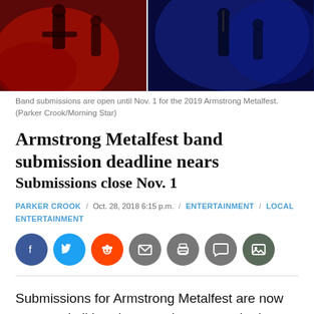[Figure (photo): Two concert performance photos side by side showing musicians on stage with red and blue lighting]
Band submissions are open until Nov. 1 for the 2019 Armstrong Metalfest. (Parker Crook/Morning Star)
Armstrong Metalfest band submission deadline nears Submissions close Nov. 1
PARKER CROOK / Oct. 28, 2018 6:15 p.m. / ENTERTAINMENT / LOCAL ENTERTAINMENT
[Figure (infographic): Social media share buttons: Facebook, Twitter, Reddit, Email, Print, Comment, Image gallery]
Submissions for Armstrong Metalfest are now open and all bands are welcome to submit themselves to play Western Canada's longest running metal festival.